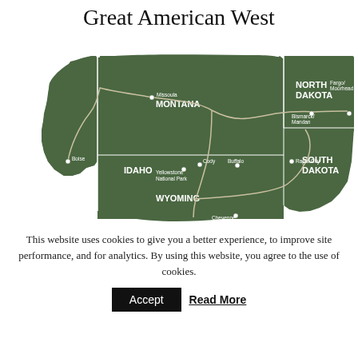Great American West
[Figure (map): Map of the Great American West showing states: Idaho, Montana, Wyoming, North Dakota, South Dakota with labeled cities (Missoula, Boise, Cody, Yellowstone National Park, Buffalo, Cheyenne, Bismarck/Mandan, Fargo/Moorhead, Rapid City) and route lines connecting them.]
This website uses cookies to give you a better experience, to improve site performance, and for analytics. By using this website, you agree to the use of cookies.
Accept   Read More